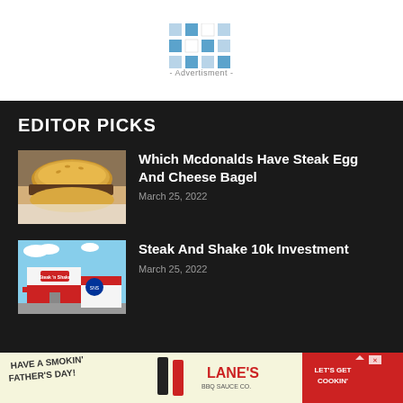[Figure (logo): Grid logo placeholder with blue/gray squares above advertisement text]
- Advertisment -
EDITOR PICKS
[Figure (photo): Steak egg and cheese bagel sandwich photo]
Which Mcdonalds Have Steak Egg And Cheese Bagel
March 25, 2022
[Figure (photo): Steak 'n Shake restaurant exterior photo]
Steak And Shake 10k Investment
March 25, 2022
[Figure (photo): Lane's BBQ advertisement - Have a Smokin' Father's Day! Let's Get Cookin']